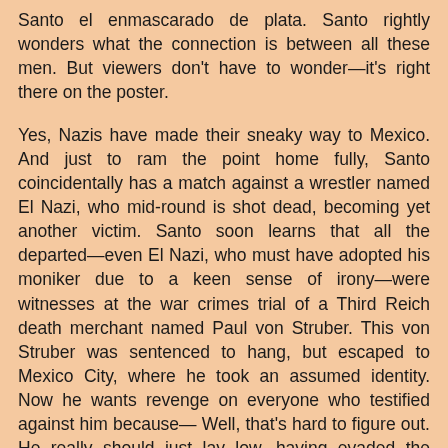Santo el enmascarado de plata. Santo rightly wonders what the connection is between all these men. But viewers don't have to wonder—it's right there on the poster.
Yes, Nazis have made their sneaky way to Mexico. And just to ram the point home fully, Santo coincidentally has a match against a wrestler named El Nazi, who mid-round is shot dead, becoming yet another victim. Santo soon learns that all the departed—even El Nazi, who must have adopted his moniker due to a keen sense of irony—were witnesses at the war crimes trial of a Third Reich death merchant named Paul von Struber. This von Struber was sentenced to hang, but escaped to Mexico City, where he took an assumed identity. Now he wants revenge on everyone who testified against him because— Well, that's hard to figure out. He really should just lay low, having evaded the hangman. But he's a Nazi. They specialize in terrible ideas.
By the time this film appeared Santo had already battled vampires, zombies, and witches. The producers of these